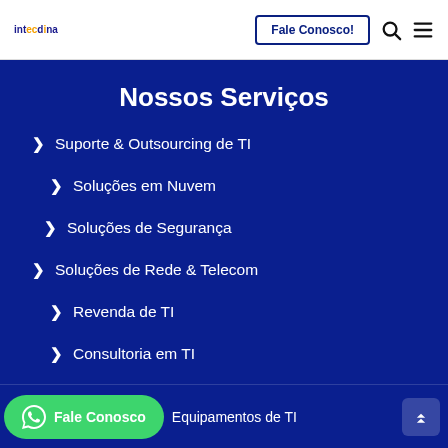Intecdna | Fale Conosco! [search] [menu]
Nossos Serviços
Suporte & Outsourcing de TI
Soluções em Nuvem
Soluções de Segurança
Soluções de Rede & Telecom
Revenda de TI
Consultoria em TI
Fale Conosco | Equipamentos de TI [scroll up]